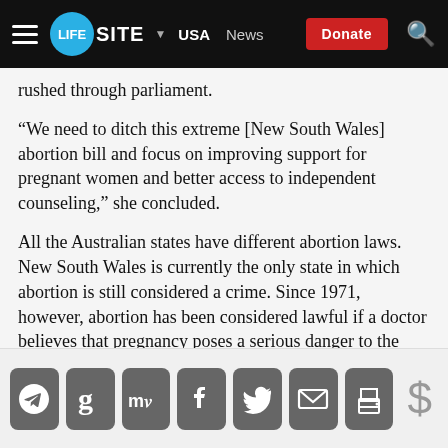LIFESITE · USA · News · Donate
rushed through parliament.
“We need to ditch this extreme [New South Wales] abortion bill and focus on improving support for pregnant women and better access to independent counseling,” she concluded.
All the Australian states have different abortion laws. New South Wales is currently the only state in which abortion is still considered a crime. Since 1971, however, abortion has been considered lawful if a doctor believes that pregnancy poses a serious danger to the mother’s life or physical or mental health.
TOPICS
Social share buttons: Telegram, Gettr, MeWe, Facebook, Twitter, Email, Print, Donate